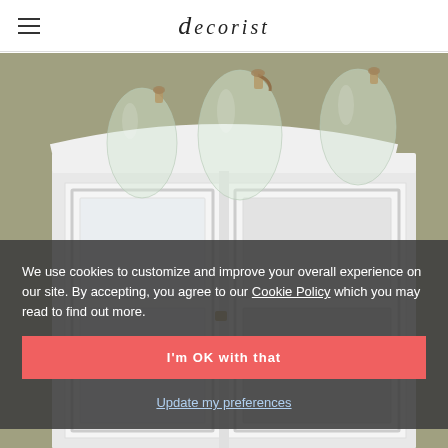decorist
[Figure (photo): White painted armoire/cabinet with crown molding top, glass-front doors; three large glass carboy bottles with cork stoppers on top, against a khaki/olive wall background.]
We use cookies to customize and improve your overall experience on our site. By accepting, you agree to our Cookie Policy which you may read to find out more.
I'm OK with that
Update my preferences